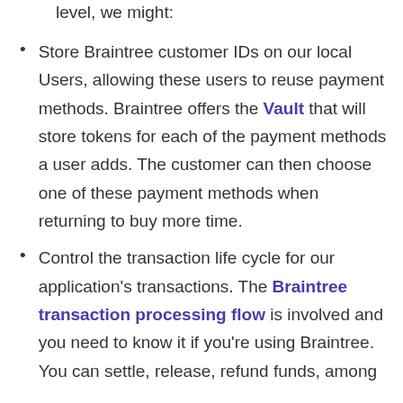level, we might:
Store Braintree customer IDs on our local Users, allowing these users to reuse payment methods. Braintree offers the Vault that will store tokens for each of the payment methods a user adds. The customer can then choose one of these payment methods when returning to buy more time.
Control the transaction life cycle for our application's transactions. The Braintree transaction processing flow is involved and you need to know it if you're using Braintree. You can settle, release, refund funds, among other options. As it is limited...